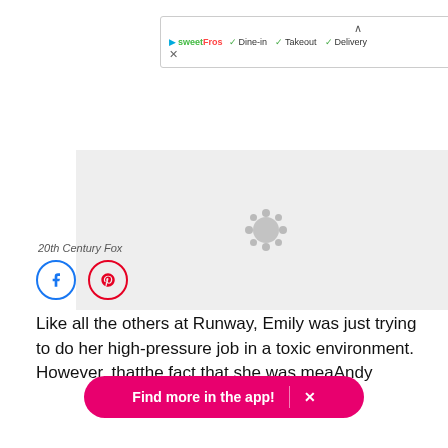[Figure (screenshot): Ad banner showing SweetFros logo with checkmarks for Dine-in, Takeout, Delivery and a blue diamond navigation icon]
[Figure (photo): Loading image placeholder with gray background and spinner icon]
20th Century Fox
[Figure (other): Social sharing buttons: Facebook (blue circle) and Pinterest (red circle)]
Like all the others at Runway, Emily was just trying to do her high-pressure job in a toxic environment. However, that the fact that she was mea Andy
[Figure (other): Find more in the app! banner with X close button]